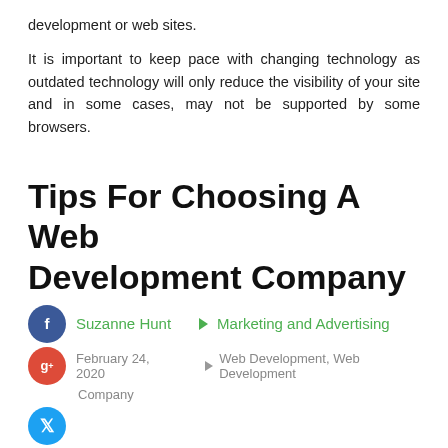development or web sites.
It is important to keep pace with changing technology as outdated technology will only reduce the visibility of your site and in some cases, may not be supported by some browsers.
Tips For Choosing A Web Development Company
Suzanne Hunt    Marketing and Advertising
February 24, 2020    Web Development, Web Development Company
web developers, especially those who are very good in their line of work make a good living working in this industry, and many times they often start their own company.